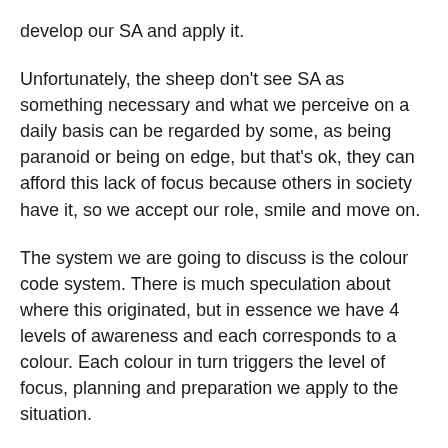develop our SA and apply it.
Unfortunately, the sheep don't see SA as something necessary and what we perceive on a daily basis can be regarded by some, as being paranoid or being on edge, but that's ok, they can afford this lack of focus because others in society have it, so we accept our role, smile and move on.
The system we are going to discuss is the colour code system. There is much speculation about where this originated, but in essence we have 4 levels of awareness and each corresponds to a colour. Each colour in turn triggers the level of focus, planning and preparation we apply to the situation.
The coulours are:
WHITE: blissful ignorance, unaware, switched off, powered down...